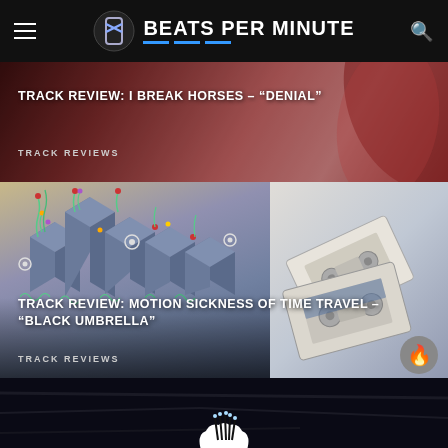BEATS PER MINUTE
[Figure (photo): Dark red/pink abstract background for track review card]
TRACK REVIEW: I BREAK HORSES – "DENIAL"
TRACK REVIEWS
[Figure (illustration): Isometric bar art with colorful flower-like figures on grey-blue pillars, alongside cassette tapes on grey background]
TRACK REVIEW: MOTION SICKNESS OF TIME TRAVEL – "BLACK UMBRELLA"
TRACK REVIEWS
[Figure (photo): White flower on dark crumpled paper background, bottom strip]